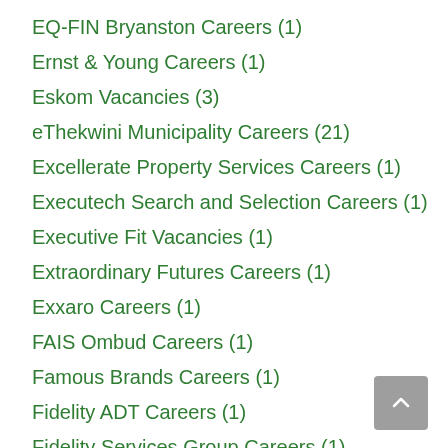EQ-FIN Bryanston Careers (1)
Ernst & Young Careers (1)
Eskom Vacancies (3)
eThekwini Municipality Careers (21)
Excellerate Property Services Careers (1)
Executech Search and Selection Careers (1)
Executive Fit Vacancies (1)
Extraordinary Futures Careers (1)
Exxaro Careers (1)
FAIS Ombud Careers (1)
Famous Brands Careers (1)
Fidelity ADT Careers (1)
Fidelity Services Group Careers (1)